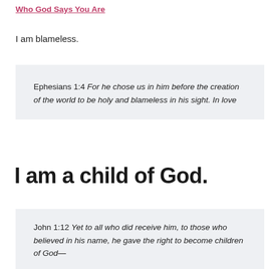Who God Says You Are
I am blameless.
Ephesians 1:4 For he chose us in him before the creation of the world to be holy and blameless in his sight. In love
I am a child of God.
John 1:12 Yet to all who did receive him, to those who believed in his name, he gave the right to become children of God—